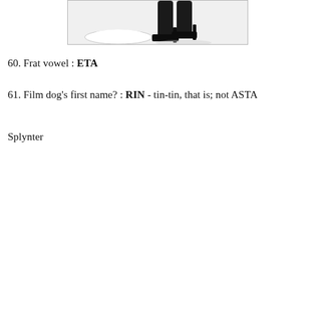[Figure (photo): Partial photo showing legs wearing black stockings and black high-heeled stiletto shoes, with a white bowl or plate visible on the left side.]
60. Frat vowel : ETA
61. Film dog's first name? : RIN - tin-tin, that is; not ASTA
Splynter